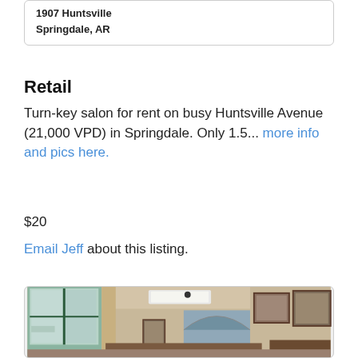1907 Huntsville
Springdale, AR
Retail
Turn-key salon for rent on busy Huntsville Avenue (21,000 VPD) in Springdale. Only 1.5... more info and pics here.
$20
Email Jeff about this listing.
[Figure (photo): Interior photo of a retail salon space showing large windows, arched doorway, framed pictures on walls, and office furniture]